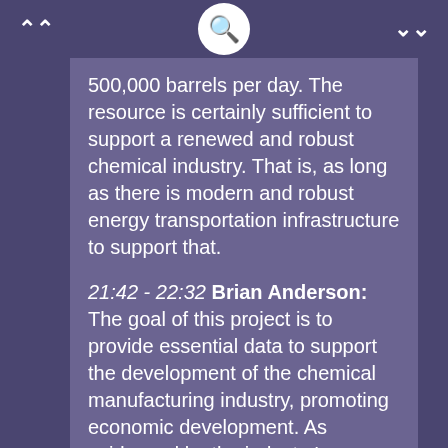500,000 barrels per day. The resource is certainly sufficient to support a renewed and robust chemical industry. That is, as long as there is modern and robust energy transportation infrastructure to support that.
21:42 - 22:32 Brian Anderson: The goal of this project is to provide essential data to support the development of the chemical manufacturing industry, promoting economic development. As evidenced by the industry's commitment to our project, developing storage and transportation infrastructure is a critical pathway to developing the industry in the region. Subsurface storage and distribution and a network of pipelines will benefit both the raw material producers -- the upstream oil and gas industry -- as well as the chemical industry by fostering a readily available and reliable network and research and source of natural gas liquids, developing a predictable price point of the commodity in the region. Currently, there is only